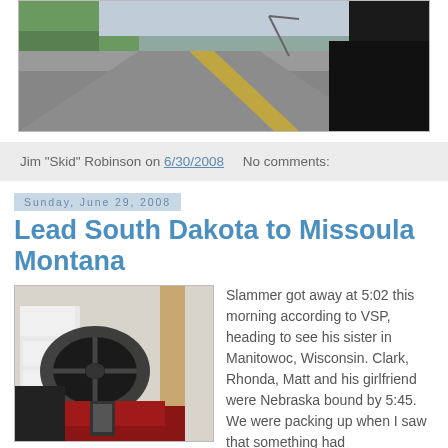[Figure (photo): View from motorcycle/vehicle riding on a road, dashboard/hood visible in lower right, road stretching ahead, green vegetation on left side]
Jim "Skid" Robinson on 6/30/2008   No comments:
Sunday, June 29, 2008
Lead South Dakota to Missoula Montana
[Figure (photo): Interior/dashboard view of a motorcycle with various accessories and instruments visible, red fuel tank at bottom]
Slammer got away at 5:02 this morning according to VSP, heading to see his sister in Manitowoc, Wisconsin. Clark, Rhonda, Matt and his girlfriend were Nebraska bound by 5:45. We were packing up when I saw that something had